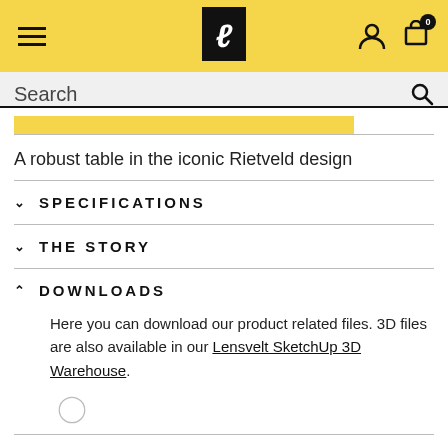Lensvelt website header with hamburger menu, logo, user icon, and cart (0)
Search
[Figure (other): Yellow progress/highlight bar below search field]
A robust table in the iconic Rietveld design
SPECIFICATIONS
THE STORY
DOWNLOADS
Here you can download our product related files. 3D files are also available in our Lensvelt SketchUp 3D Warehouse.
[Figure (other): Partial circle/download icon at bottom of page]